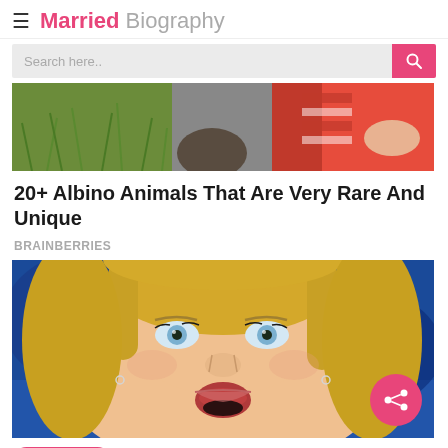Married Biography
[Figure (screenshot): Search bar with magnifying glass icon on pink background]
[Figure (photo): Advertisement image showing albino animals or outdoor scene]
20+ Albino Animals That Are Very Rare And Unique
BRAINBERRIES
[Figure (photo): Close-up photo of a blonde woman with blue eyes looking surprised, with a pink share button overlay]
Next Bio >> Max Beesley